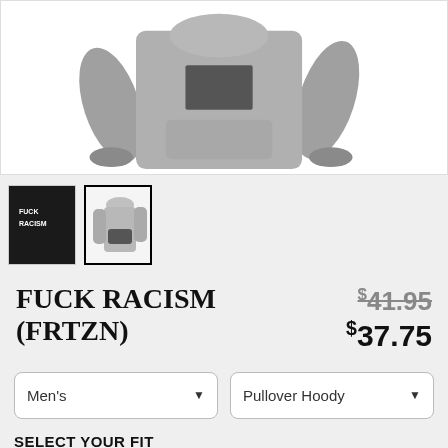[Figure (photo): Gray pullover hoodie sweatshirt product photo showing front and side views on white background]
[Figure (photo): Two product thumbnails: first is a black garment with text, second is a gray pullover hoodie (currently selected, highlighted with border)]
FUCK RACISM (FRTZN)
$41.95 (strikethrough) $37.75
Men's [dropdown] | Pullover Hoody [dropdown]
SELECT YOUR FIT